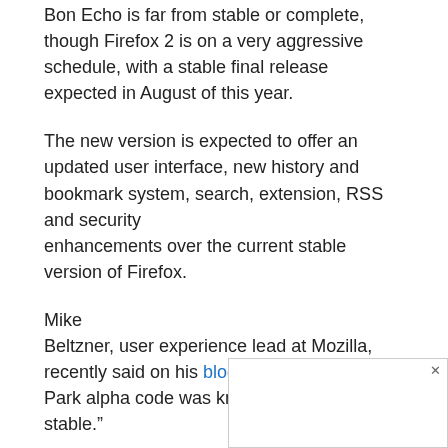Bon Echo is far from stable or complete, though Firefox 2 is on a very aggressive schedule, with a stable final release expected in August of this year.
The new version is expected to offer an updated user interface, new history and bookmark system, search, extension, RSS and security enhancements over the current stable version of Firefox.
Mike Beltzner, user experience lead at Mozilla, recently said on his blog that the first Deer Park alpha code was known to be “really stable.”
Bon Echo, in contrast, introduces more new end-user features that have not yet been fully tested, making the release more of a real alp